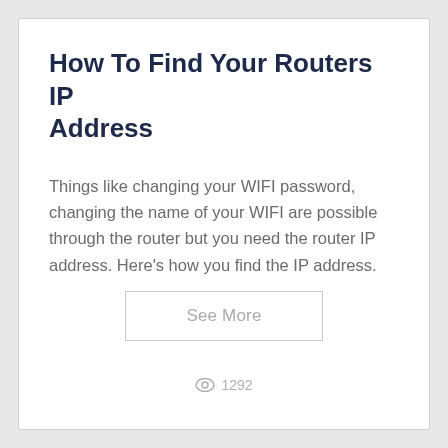How To Find Your Routers IP Address
Things like changing your WIFI password, changing the name of your WIFI are possible through the router but you need the router IP address. Here's how you find the IP address.
See More
1292